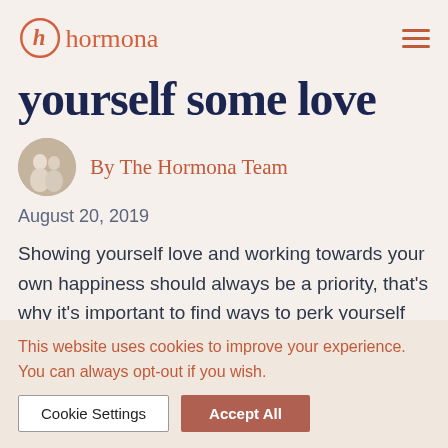hormona
yourself some love
By The Hormona Team
August 20, 2019
Showing yourself love and working towards your own happiness should always be a priority, that's why it's important to find ways to perk yourself up
This website uses cookies to improve your experience. You can always opt-out if you wish.